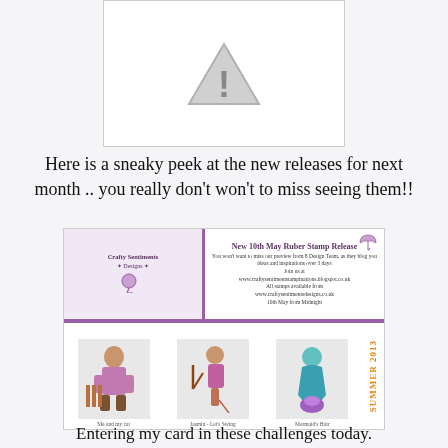[Figure (other): Placeholder image with a warning/exclamation triangle icon on white background with grey border]
Here is a sneaky peek at the new releases for next month .. you really don't won't to miss seeing them!!
[Figure (illustration): Promotional flyer for Crafty Sentiments Designs showing 'New 10th May Rubber Stamp Release' with three stamp illustrations: 'Me and my cat', 'Jasmin - Let's Swing', and 'Mermaid's Hair'. Text includes website URLs and 'SUMMER 2013' text on the right side.]
Entering my card in these challenges today.